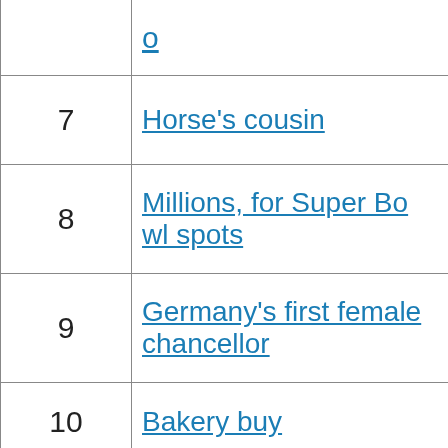| # | Clue | Answer |
| --- | --- | --- |
|  | o | REOK |
| 7 | Horse's cousin | ASS |
| 8 | Millions, for Super Bowl spots | ADFEES |
| 9 | Germany's first female chancellor | MERKEL |
| 10 | Bakery buy | PIE |
| 11 | Singer Rawls | LOU |